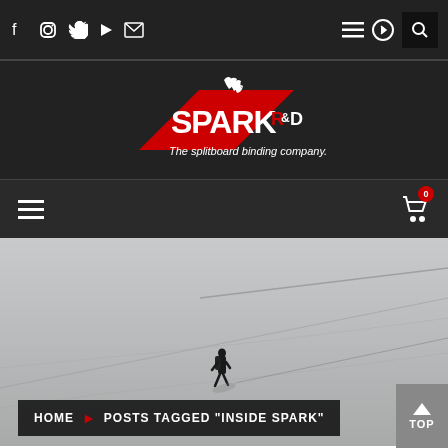Spark R&D — The splitboard binding company — Navigation bar with social icons (Facebook, Instagram, Twitter, YouTube, Email), hamburger menu, login, search
[Figure (logo): Spark R&D logo — white flame icon above red diagonal banner with white SPARK text and red R&D superscript, tagline: The splitboard binding company.]
[Figure (photo): A person with a backpack hiking/skinning up a large snow-covered mountain slope, black and white/gray tones, diagonal mountain ridgeline visible]
HOME ▶ POSTS TAGGED "INSIDE SPARK"